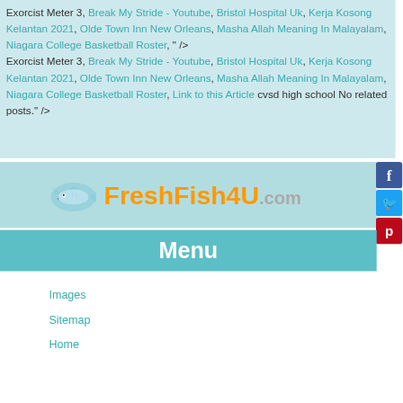Exorcist Meter 3, Break My Stride - Youtube, Bristol Hospital Uk, Kerja Kosong Kelantan 2021, Olde Town Inn New Orleans, Masha Allah Meaning In Malayalam, Niagara College Basketball Roster, " /> Exorcist Meter 3, Break My Stride - Youtube, Bristol Hospital Uk, Kerja Kosong Kelantan 2021, Olde Town Inn New Orleans, Masha Allah Meaning In Malayalam, Niagara College Basketball Roster, Link to this Article cvsd high school No related posts." />
[Figure (logo): FreshFish4U.com logo with fish illustration]
Menu
Images
Sitemap
Home